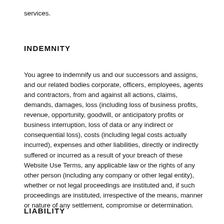services.
INDEMNITY
You agree to indemnify us and our successors and assigns, and our related bodies corporate, officers, employees, agents and contractors, from and against all actions, claims, demands, damages, loss (including loss of business profits, revenue, opportunity, goodwill, or anticipatory profits or business interruption, loss of data or any indirect or consequential loss), costs (including legal costs actually incurred), expenses and other liabilities, directly or indirectly suffered or incurred as a result of your breach of these Website Use Terms, any applicable law or the rights of any other person (including any company or other legal entity), whether or not legal proceedings are instituted and, if such proceedings are instituted, irrespective of the means, manner or nature of any settlement, compromise or determination.
LIABILITY